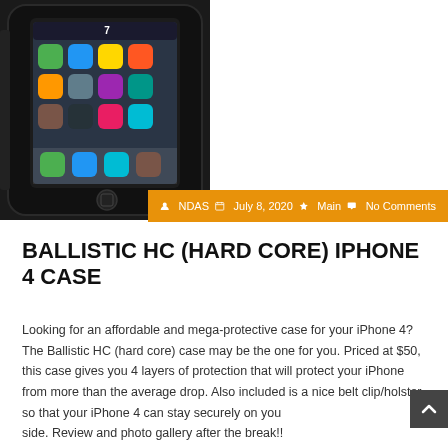[Figure (photo): Black Ballistic HC hard core iPhone 4 case shown on a smartphone with home screen visible, heavy-duty rugged case with protective edges]
NDAS  July 8, 2020  Main  No Comments
BALLISTIC HC (HARD CORE) IPHONE 4 CASE
Looking for an affordable and mega-protective case for your iPhone 4? The Ballistic HC (hard core) case may be the one for you. Priced at $50, this case gives you 4 layers of protection that will protect your iPhone from more than the average drop. Also included is a nice belt clip/holster so that your iPhone 4 can stay securely on your side. Review and photo gallery after the break!!